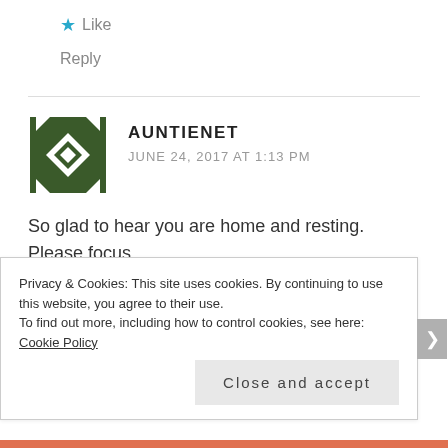★ Like
Reply
AUNTIENET
JUNE 24, 2017 AT 1:13 PM
So glad to hear you are home and resting. Please focus
Privacy & Cookies: This site uses cookies. By continuing to use this website, you agree to their use.
To find out more, including how to control cookies, see here: Cookie Policy
Close and accept